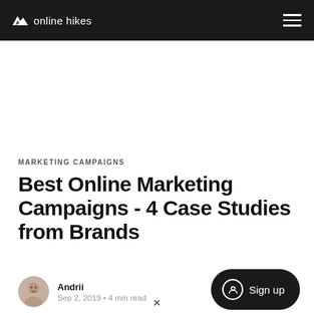online hikes
MARKETING CAMPAIGNS
Best Online Marketing Campaigns - 4 Case Studies from Brands
Andrii
Sep 2, 2019 • 4 min read